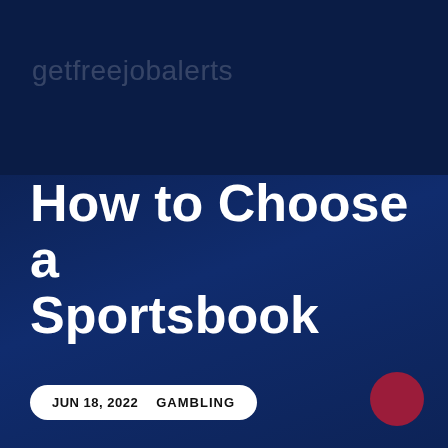getfreejobalerts
How to Choose a Sportsbook
JUN 18, 2022    GAMBLING